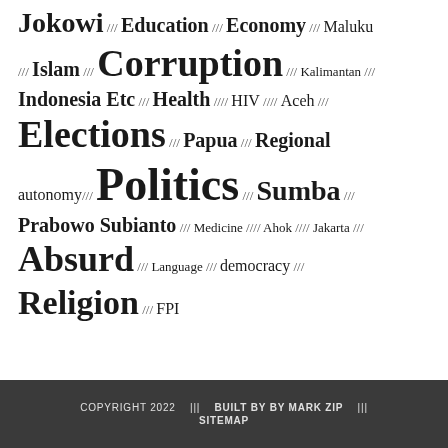Jokowi /// Education /// Economy /// Maluku /// Islam /// Corruption /// Kalimantan /// Indonesia Etc /// Health /// HIV /// Aceh /// Elections /// Papua /// Regional autonomy /// Politics /// Sumba /// Prabowo Subianto /// Medicine /// Ahok /// Jakarta /// Absurd /// Language /// democracy /// Religion /// FPI
COPYRIGHT 2022   |||   BUILT BY BY MARK ZIP   |||   SITEMAP